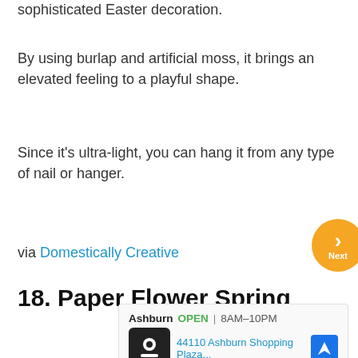sophisticated Easter decoration.
By using burlap and artificial moss, it brings an elevated feeling to a playful shape.
Since it's ultra-light, you can hang it from any type of nail or hanger.
via Domestically Creative
18. Paper Flower Spring
[Figure (other): Advertisement box showing Ashburn location, OPEN 8AM-10PM, 44110 Ashburn Shopping Plaza..., with logo and navigation icon, plus ad controls (play and close icons)]